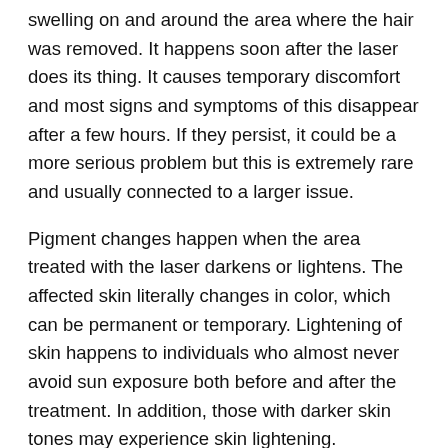swelling on and around the area where the hair was removed. It happens soon after the laser does its thing. It causes temporary discomfort and most signs and symptoms of this disappear after a few hours. If they persist, it could be a more serious problem but this is extremely rare and usually connected to a larger issue.
Pigment changes happen when the area treated with the laser darkens or lightens. The affected skin literally changes in color, which can be permanent or temporary. Lightening of skin happens to individuals who almost never avoid sun exposure both before and after the treatment. In addition, those with darker skin tones may experience skin lightening.
In very rare cases, crusts, blisters, scars, and other physical changes in the texture of the skin can happen. There have been reports of graying too, as well as faster and excessive hair growth in the immediate surroundings of the treated